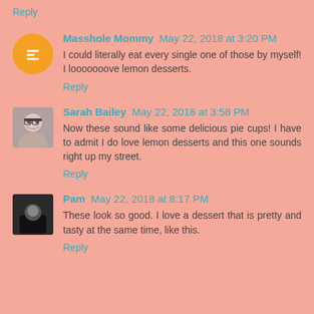Reply
Masshole Mommy May 22, 2018 at 3:20 PM
I could literally eat every single one of those by myself! I looooooove lemon desserts.
Reply
Sarah Bailey May 22, 2018 at 3:58 PM
Now these sound like some delicious pie cups! I have to admit I do love lemon desserts and this one sounds right up my street.
Reply
Pam May 22, 2018 at 8:17 PM
These look so good. I love a dessert that is pretty and tasty at the same time, like this.
Reply